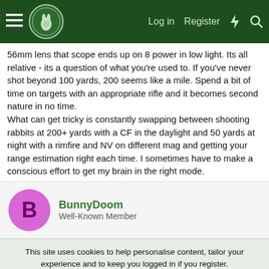Forum navigation bar with hamburger menu, logo, Log in, Register, flash and search icons
56mm lens that scope ends up on 8 power in low light. Its all relative - its a question of what you're used to. If you've never shot beyond 100 yards, 200 seems like a mile. Spend a bit of time on targets with an appropriate rifle and it becomes second nature in no time.
What can get tricky is constantly swapping between shooting rabbits at 200+ yards with a CF in the daylight and 50 yards at night with a rimfire and NV on different mag and getting your range estimation right each time. I sometimes have to make a conscious effort to get my brain in the right mode.
BunnyDoom
Well-Known Member
This site uses cookies to help personalise content, tailor your experience and to keep you logged in if you register.
By continuing to use this site, you are consenting to our use of cookies.